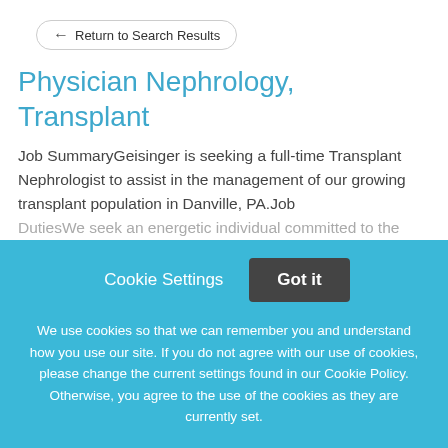← Return to Search Results
Physician Nephrology, Transplant
Job SummaryGeisinger is seeking a full-time Transplant Nephrologist to assist in the management of our growing transplant population in Danville, PA.Job DutiesWe seek an energetic individual committed to the
This job listing is no longer active.
Cookie Settings   Got it
We use cookies so that we can remember you and understand how you use our site. If you do not agree with our use of cookies, please change the current settings found in our Cookie Policy. Otherwise, you agree to the use of the cookies as they are currently set.